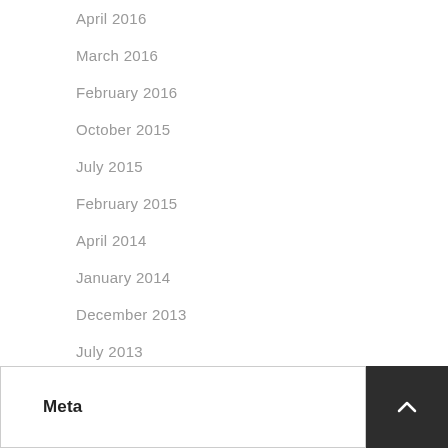April 2016
March 2016
February 2016
October 2015
July 2015
February 2015
April 2014
January 2014
December 2013
July 2013
Meta